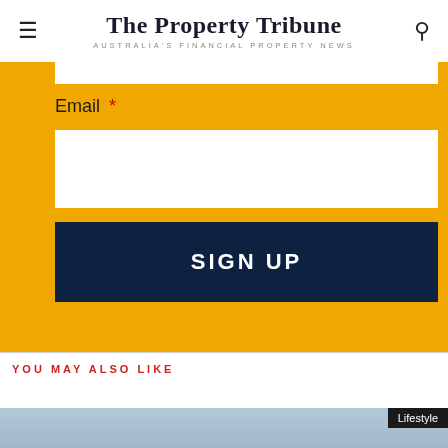The Property Tribune — AUSTRALIA'S FINANCIAL PROPERTY NEWS
Email *
SIGN UP
YOU MAY ALSO LIKE
[Figure (photo): Blue-toned blurred outdoor/lifestyle photo with a 'Lifestyle' badge in the top-right corner]